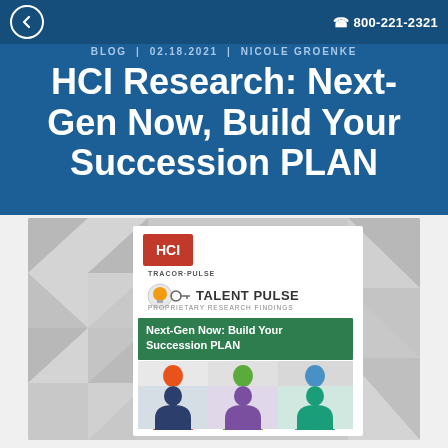BLOG | 02.18.2021 | NICOLE GROENKE  ☎ 800-221-2321
HCI Research: Next-Gen Now, Build Your Succession PLAN
[Figure (photo): Cover image of the HCI Talent Pulse research report titled 'Next-Gen Now: Build Your Succession PLAN', showing colorful silhouettes of people figures in orange, green, blue, dark blue, purple, and teal arranged in a grid, on a geometric grey triangle pattern background.]